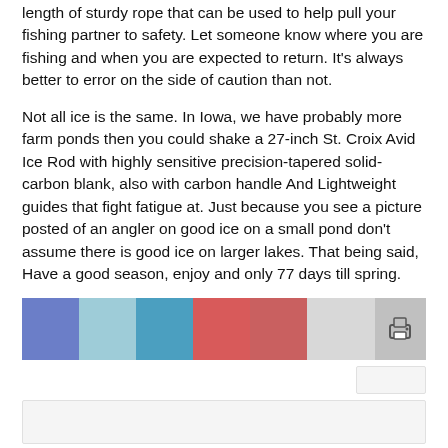length of sturdy rope that can be used to help pull your fishing partner to safety. Let someone know where you are fishing and when you are expected to return. It's always better to error on the side of caution than not.
Not all ice is the same. In Iowa, we have probably more farm ponds then you could shake a 27-inch St. Croix Avid Ice Rod with highly sensitive precision-tapered solid-carbon blank, also with carbon handle And Lightweight guides that fight fatigue at. Just because you see a picture posted of an angler on good ice on a small pond don't assume there is good ice on larger lakes. That being said, Have a good season, enjoy and only 77 days till spring.
Catch Jerry's Outdoors Show on Friday mornings at 10 a.m. on KWPC and FM 95.1.
[Figure (infographic): Social sharing bar with colored segments: Facebook (blue-purple), Twitter (light blue), LinkedIn (teal-blue), Pinterest (red), Email (dark red/salmon), blank (light gray), and a print button (gray with printer icon)]